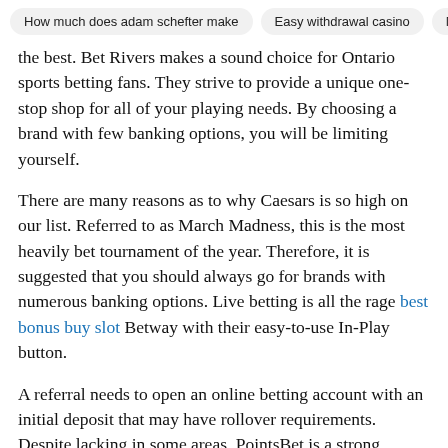How much does adam schefter make | Easy withdrawal casino | M…
the best. Bet Rivers makes a sound choice for Ontario sports betting fans. They strive to provide a unique one-stop shop for all of your playing needs. By choosing a brand with few banking options, you will be limiting yourself.
There are many reasons as to why Caesars is so high on our list. Referred to as March Madness, this is the most heavily bet tournament of the year. Therefore, it is suggested that you should always go for brands with numerous banking options. Live betting is all the rage best bonus buy slot Betway with their easy-to-use In-Play button.
A referral needs to open an online betting account with an initial deposit that may have rollover requirements. Despite lacking in some areas, PointsBet is a strong choice to go with. One of the biggest online betting events of the year is the college bowl season in late-December and early January,